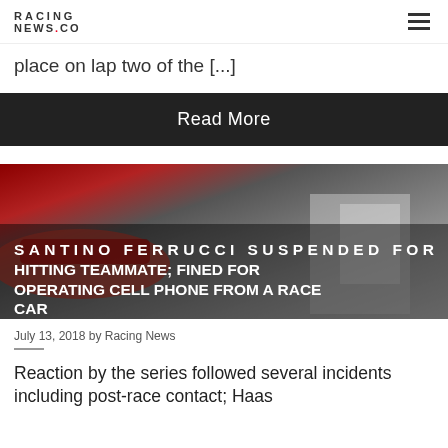RACING NEWS.CO
place on lap two of the [...]
Read More
[Figure (photo): Racing car photo with red and white livery, garage/pit lane setting, dark background]
SANTINO FERRUCCI SUSPENDED FOR HITTING TEAMMATE; FINED FOR OPERATING CELL PHONE FROM A RACE CAR
July 13, 2018 by Racing News
Reaction by the series followed several incidents including post-race contact; Haas